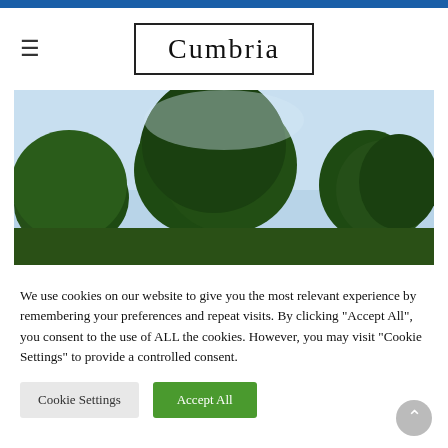Cumbria
[Figure (photo): Landscape photo showing large green trees against a light blue sky, taken from below looking up at the canopy.]
We use cookies on our website to give you the most relevant experience by remembering your preferences and repeat visits. By clicking "Accept All", you consent to the use of ALL the cookies. However, you may visit "Cookie Settings" to provide a controlled consent.
Cookie Settings
Accept All